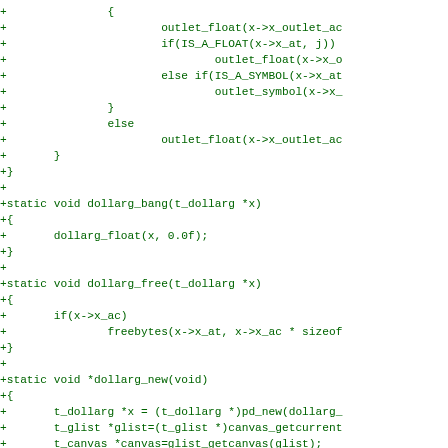[Figure (other): Source code diff (patch) showing C code additions for dollarg functions including dollarg_bang, dollarg_free, and dollarg_new, displayed in green monospace font on white background]